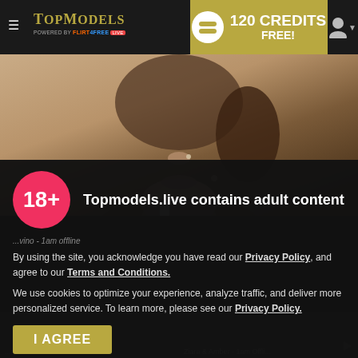TopModels — 120 CREDITS FREE!
[Figure (photo): Partial face of a young woman with nose piercing, chin visible, warm wooden background]
Topmodels.live contains adult content
By using the site, you acknowledge you have read our Privacy Policy, and agree to our Terms and Conditions.
We use cookies to optimize your experience, analyze traffic, and deliver more personalized service. To learn more, please see our Privacy Policy.
I AGREE